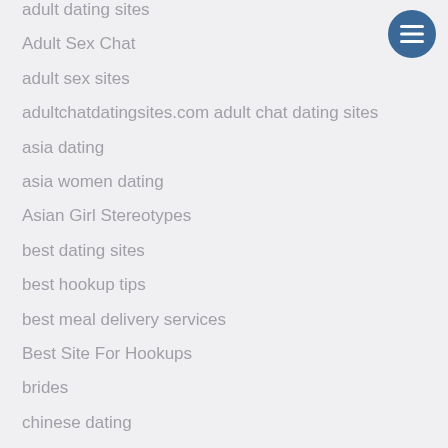adult dating sites
Adult Sex Chat
adult sex sites
adultchatdatingsites.com adult chat dating sites
asia dating
asia women dating
Asian Girl Stereotypes
best dating sites
best hookup tips
best meal delivery services
Best Site For Hookups
brides
chinese dating
date a woman
Dating A Latina Woman
dating blog